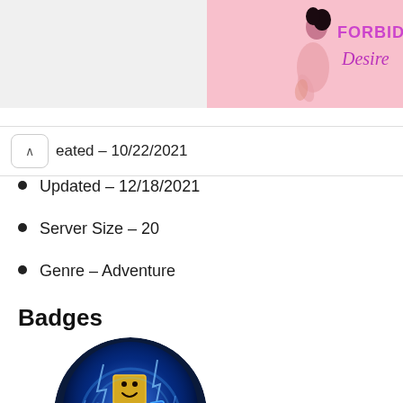[Figure (illustration): Pink banner with a stylized female silhouette and purple text reading 'FORBIDDEN Desire' in the top right corner]
Created – 10/22/2021
Updated – 12/18/2021
Server Size – 20
Genre – Adventure
Badges
[Figure (illustration): Circular Roblox badge showing a glowing blue Roblox character with lightning effects and text at the bottom reading 'UPCOMING LEGEND']